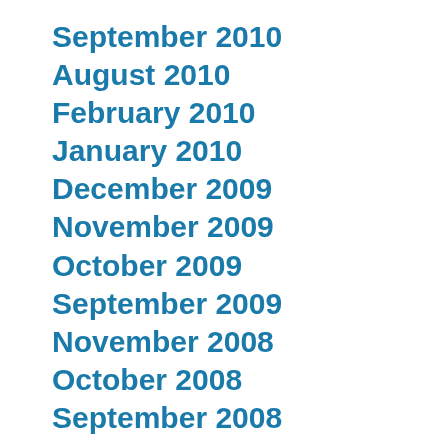September 2010
August 2010
February 2010
January 2010
December 2009
November 2009
October 2009
September 2009
November 2008
October 2008
September 2008